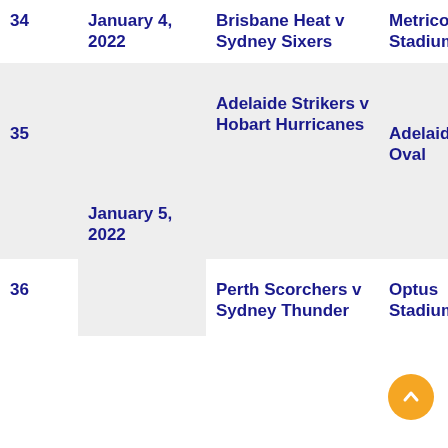| # | Date | Match | Venue | Time |
| --- | --- | --- | --- | --- |
| 34 | January 4, 2022 | Brisbane Heat v Sydney Sixers | Metricon Stadium | 6:1 |
| 35 |  | Adelaide Strikers v Hobart Hurricanes | Adelaide Oval | 5:3 |
| 36 | January 5, 2022 | Perth Scorchers v Sydney Thunder | Optus Stadium | 6:1 |